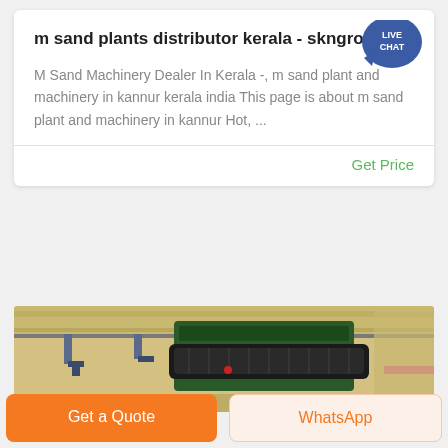m sand plants distributor kerala - skngroups
M Sand Machinery Dealer In Kerala -, m sand plant and machinery in kannur kerala india This page is about m sand plant and machinery in kannur Hot, ...
Get Price
[Figure (photo): Industrial factory interior showing green machinery/conveyor equipment hanging from ceiling with cranes in a warehouse setting]
Get a Quote
WhatsApp